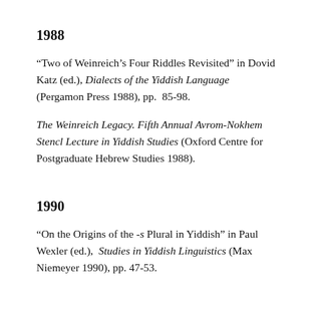1988
“Two of Weinreich’s Four Riddles Revisited” in Dovid Katz (ed.), Dialects of the Yiddish Language (Pergamon Press 1988), pp.  85-98.
The Weinreich Legacy. Fifth Annual Avrom-Nokhem Stencl Lecture in Yiddish Studies (Oxford Centre for Postgraduate Hebrew Studies 1988).
1990
“On the Origins of the -s Plural in Yiddish” in Paul Wexler (ed.),  Studies in Yiddish Linguistics (Max Niemeyer 1990), pp. 47-53.